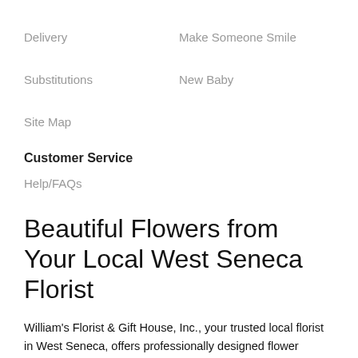Delivery
Make Someone Smile
Substitutions
New Baby
Site Map
Customer Service
Help/FAQs
Beautiful Flowers from Your Local West Seneca Florist
William's Florist & Gift House, Inc., your trusted local florist in West Seneca, offers professionally designed flower arrangements and floral gifts to fit any occasion. We can help you find the perfect flowers and deliver them throughout West Seneca and the surrounding area. Our network of trusted florists even offer floral delivery nationwide! Need